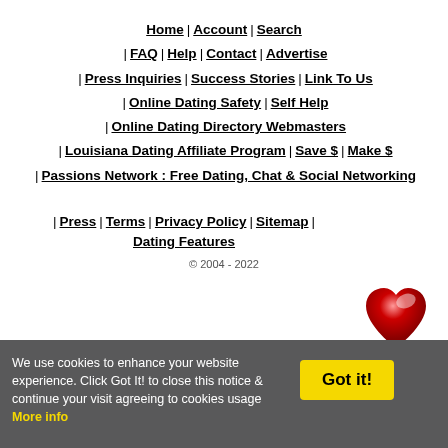[Figure (logo): Blue circle accessibility icon with white stick figure]
Home | Account | Search
| FAQ | Help | Contact | Advertise
| Press Inquiries | Success Stories | Link To Us
| Online Dating Safety | Self Help
| Online Dating Directory Webmasters
| Louisiana Dating Affiliate Program | Save $ | Make $
| Passions Network : Free Dating, Chat & Social Networking
[Figure (illustration): Red shiny heart graphic]
| Press | Terms | Privacy Policy | Sitemap | Dating Features
© 2004 - 2022
We use cookies to enhance your website experience. Click Got It! to close this notice & continue your visit agreeing to cookies usage  More info
Got it!